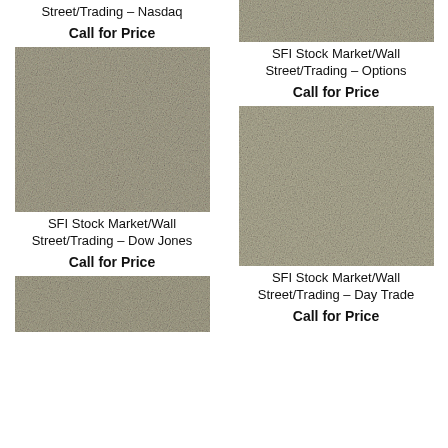Street/Trading – Nasdaq
Call for Price
[Figure (photo): Textured grey-green carpet/fabric product photo for SFI Stock Market/Wall Street/Trading – Options]
SFI Stock Market/Wall Street/Trading – Options
Call for Price
[Figure (photo): Textured grey-green carpet/fabric product photo for SFI Stock Market/Wall Street/Trading – Dow Jones]
SFI Stock Market/Wall Street/Trading – Dow Jones
Call for Price
[Figure (photo): Textured beige carpet/fabric product photo for SFI Stock Market/Wall Street/Trading – Day Trade]
SFI Stock Market/Wall Street/Trading – Day Trade
Call for Price
[Figure (photo): Textured grey carpet/fabric product photo (partial, bottom of page)]